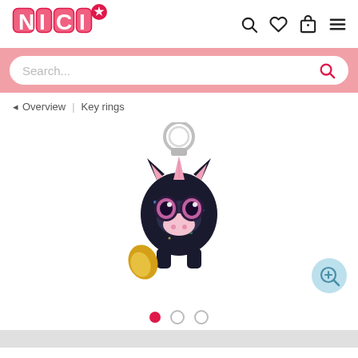[Figure (logo): NICI brand logo in pink bubble letters with a red star badge]
[Figure (screenshot): Search bar, navigation icons (search, heart, bag, menu) in the website header]
Search...
Overview | Key rings
[Figure (photo): Black sparkly unicorn keyring plush toy with big pink eyes, pink ears, golden tail, and a silver keyring at top]